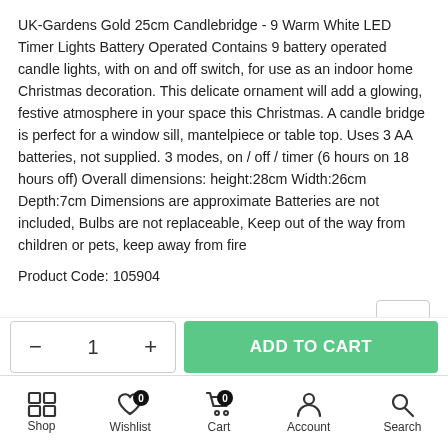UK-Gardens Gold 25cm Candlebridge - 9 Warm White LED Timer Lights Battery Operated Contains 9 battery operated candle lights, with on and off switch, for use as an indoor home Christmas decoration. This delicate ornament will add a glowing, festive atmosphere in your space this Christmas. A candle bridge is perfect for a window sill, mantelpiece or table top. Uses 3 AA batteries, not supplied. 3 modes, on / off / timer (6 hours on 18 hours off) Overall dimensions: height:28cm Width:26cm Depth:7cm Dimensions are approximate Batteries are not included, Bulbs are not replaceable, Keep out of the way from children or pets, keep away from fire
Product Code: 105904